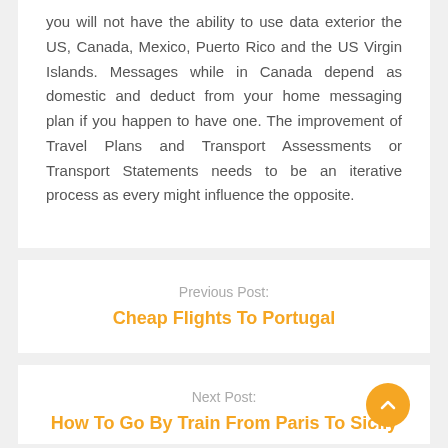you will not have the ability to use data exterior the US, Canada, Mexico, Puerto Rico and the US Virgin Islands. Messages while in Canada depend as domestic and deduct from your home messaging plan if you happen to have one. The improvement of Travel Plans and Transport Assessments or Transport Statements needs to be an iterative process as every might influence the opposite.
Previous Post:
Cheap Flights To Portugal
Next Post:
How To Go By Train From Paris To Sicily